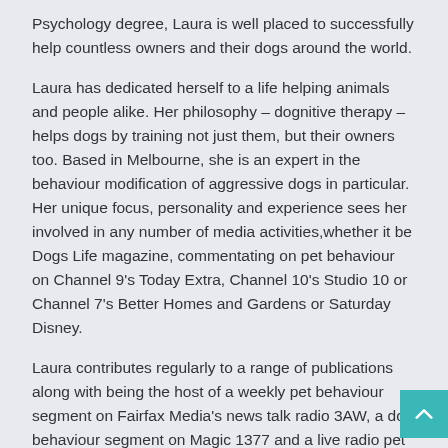Psychology degree, Laura is well placed to successfully help countless owners and their dogs around the world.
Laura has dedicated herself to a life helping animals and people alike. Her philosophy – dognitive therapy – helps dogs by training not just them, but their owners too. Based in Melbourne, she is an expert in the behaviour modification of aggressive dogs in particular. Her unique focus, personality and experience sees her involved in any number of media activities,whether it be Dogs Life magazine, commentating on pet behaviour on Channel 9's Today Extra, Channel 10's Studio 10 or Channel 7's Better Homes and Gardens or Saturday Disney.
Laura contributes regularly to a range of publications along with being the host of a weekly pet behaviour segment on Fairfax Media's news talk radio 3AW, a dog behaviour segment on Magic 1377 and a live radio pet segment on Australia Overnight. Laura is the author of books 'Things Your Dog Wants You to Know' and 'Dognitive Therapy'. She also has a podcast of the same name on